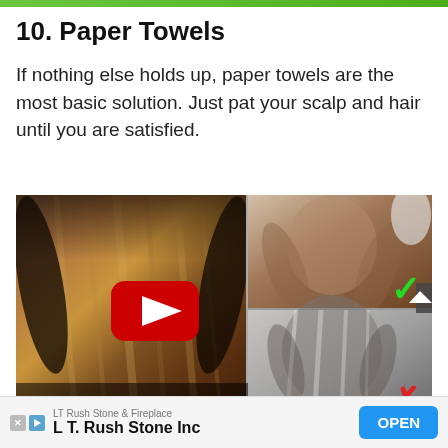10. Paper Towels
If nothing else holds up, paper towels are the most basic solution. Just pat your scalp and hair until you are satisfied.
[Figure (photo): A composite image showing hair care photos side by side. Left: a person with long, straight brown hair. Top right: a person with dark hair hands raised behind head with a green checkmark. Bottom right: a person with product-laden hair with a red X. A YouTube play button is overlaid in the center. Bottom text reads 'RIGHT WAY TO' in yellow bold italic.]
LT Rush Stone & Fireplace
L T. Rush Stone Inc
OPEN